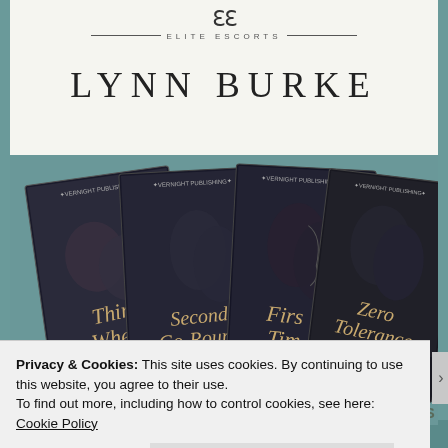[Figure (logo): Elite Escorts logo with stylized EE monogram and horizontal lines, series name ELITE ESCORTS in small caps]
LYNN BURKE
[Figure (photo): Four book covers fanned out for the Elite Escorts series by Lynn Burke: Third Wheel, Second Go-Round, First Time, Zero Tolerance. Published by Evernight Publishing. Dark romantic/erotic covers with couples in black and white.]
OTHER BOOKS IN THE ELITE ESCORTS SERIES
Privacy & Cookies: This site uses cookies. By continuing to use this website, you agree to their use.
To find out more, including how to control cookies, see here: Cookie Policy
Close and accept